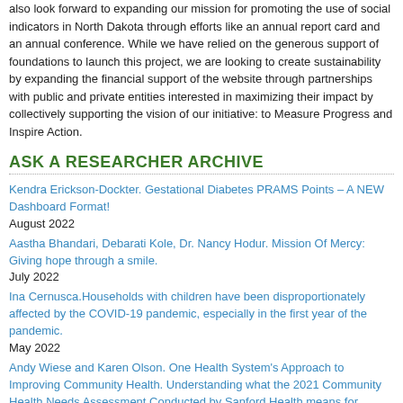also look forward to expanding our mission for promoting the use of social indicators in North Dakota through efforts like an annual report card and an annual conference. While we have relied on the generous support of foundations to launch this project, we are looking to create sustainability by expanding the financial support of the website through partnerships with public and private entities interested in maximizing their impact by collectively supporting the vision of our initiative: to Measure Progress and Inspire Action.
ASK A RESEARCHER ARCHIVE
Kendra Erickson-Dockter. Gestational Diabetes PRAMS Points – A NEW Dashboard Format!
August 2022
Aastha Bhandari, Debarati Kole, Dr. Nancy Hodur. Mission Of Mercy: Giving hope through a smile.
July 2022
Ina Cernusca.Households with children have been disproportionately affected by the COVID-19 pandemic, especially in the first year of the pandemic.
May 2022
Andy Wiese and Karen Olson. One Health System's Approach to Improving Community Health. Understanding what the 2021 Community Health Needs Assessment Conducted by Sanford Health means for population health
April 2022